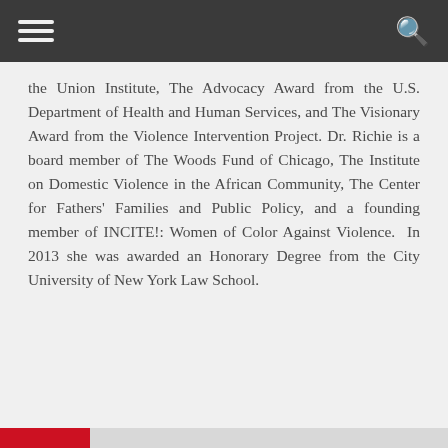the Union Institute, The Advocacy Award from the U.S. Department of Health and Human Services, and The Visionary Award from the Violence Intervention Project. Dr. Richie is a board member of The Woods Fund of Chicago, The Institute on Domestic Violence in the African Community, The Center for Fathers' Families and Public Policy, and a founding member of INCITE!: Women of Color Against Violence.  In 2013 she was awarded an Honorary Degree from the City University of New York Law School.